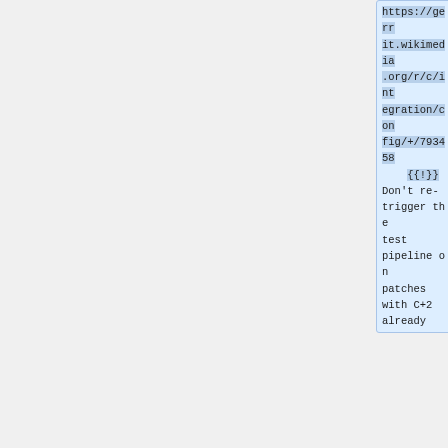https://gerrit.wikimedia.org/r/c/integration/config/+/793458 {{!}} Don't re-trigger the test pipeline on patches with C+2 already
+
== 2022-05-18 ==
* 19:31 hashar: Reloaded Zuul for